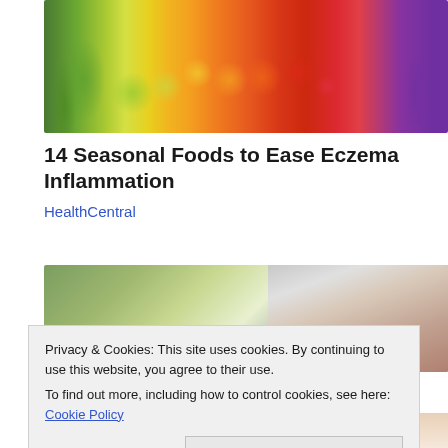[Figure (photo): Colorful arrangement of fresh fruits and vegetables including green peppers, celery, kiwi, citrus fruits, oranges, tomatoes, grapefruit, and eggplant arranged in a rainbow gradient from green to purple]
14 Seasonal Foods to Ease Eczema Inflammation
HealthCentral
[Figure (photo): Partial photo showing what appears to be a tablet or electronic device on a green background]
Privacy & Cookies: This site uses cookies. By continuing to use this website, you agree to their use.
To find out more, including how to control cookies, see here: Cookie Policy
[Figure (photo): Partial image at bottom showing what appears to be a hand or skin]